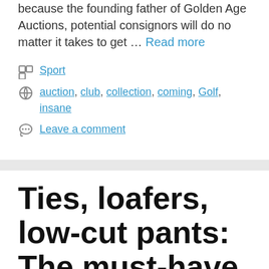because the founding father of Golden Age Auctions, potential consignors will do no matter it takes to get … Read more
Sport
auction, club, collection, coming, Golf, insane
Leave a comment
Ties, loafers, low-cut pants: The must-have style gadgets of the autumn